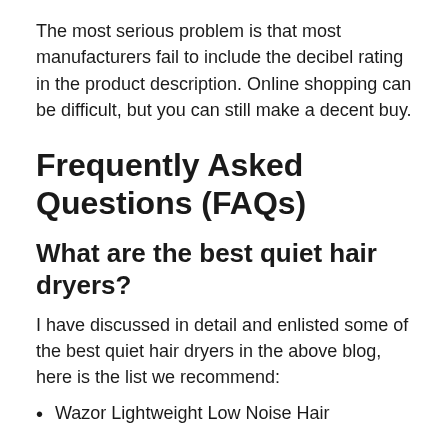The most serious problem is that most manufacturers fail to include the decibel rating in the product description. Online shopping can be difficult, but you can still make a decent buy.
Frequently Asked Questions (FAQs)
What are the best quiet hair dryers?
I have discussed in detail and enlisted some of the best quiet hair dryers in the above blog, here is the list we recommend:
Wazor Lightweight Low Noise Hair